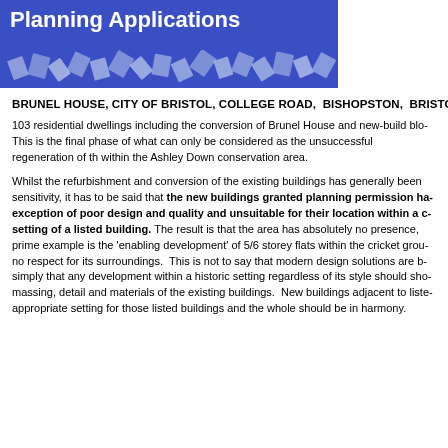[Figure (illustration): Blue banner header with title 'Planning Applications' and decorative white/blue squares pattern at the bottom]
BRUNEL HOUSE, CITY OF BRISTOL, COLLEGE ROAD,  BISHOPSTON,  BRISTOL
103 residential dwellings including the conversion of Brunel House and new-build blocks. This is the final phase of what can only be considered as the unsuccessful regeneration of the site within the Ashley Down conservation area.

Whilst the refurbishment and conversion of the existing buildings has generally been carried out with sensitivity, it has to be said that the new buildings granted planning permission have been without exception of poor design and quality and unsuitable for their location within a conservation area and setting of a listed building. The result is that the area has absolutely no presence, character. A prime example is the 'enabling development' of 5/6 storey flats within the cricket ground, which show no respect for its surroundings.  This is not to say that modern design solutions are by any means bad, simply that any development within a historic setting regardless of its style should show respect for the massing, detail and materials of the existing buildings.  New buildings adjacent to listed buildings should appropriate setting for those listed buildings and the whole should be in harmony.